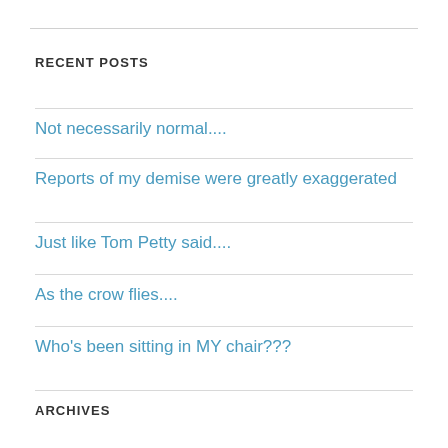RECENT POSTS
Not necessarily normal....
Reports of my demise were greatly exaggerated
Just like Tom Petty said....
As the crow flies....
Who's been sitting in MY chair???
ARCHIVES